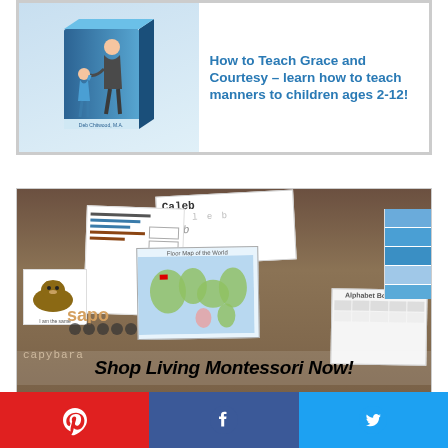[Figure (illustration): Advertisement banner for 'How to Teach Grace and Courtesy - learn how to teach manners to children ages 2-12!' by Deb Chitwood, M.A. Shows a book box with an adult and child illustration.]
[Figure (photo): Advertisement for Living Montessori Now shop showing various Montessori learning materials spread out including worksheets, animal cards, world map, alphabet activities, and name tracing cards. Text overlay reads 'Shop Living Montessori Now!']
[Figure (infographic): Social share buttons row: Pinterest (red), Facebook (blue), Twitter (light blue) with respective icons.]